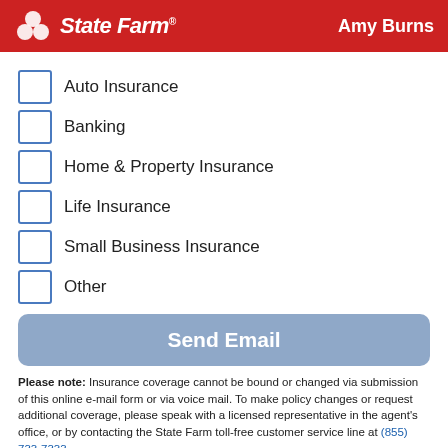State Farm — Amy Burns
Auto Insurance
Banking
Home & Property Insurance
Life Insurance
Small Business Insurance
Other
Send Email
Please note: Insurance coverage cannot be bound or changed via submission of this online e-mail form or via voice mail. To make policy changes or request additional coverage, please speak with a licensed representative in the agent's office, or by contacting the State Farm toll-free customer service line at (855) 733-7333 .
By filling out the form, you are providing express consent by electronic signature that you may be contacted by telephone (via call and/or text messages) and/or email for marketing purposes by State Farm Mutual Automobile Insurance Company, its subsidiaries and affiliates ("State Farm") or an independent